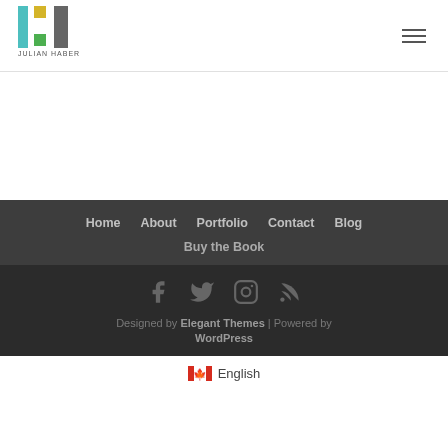[Figure (logo): Julian Haber logo with colored rectangles and text]
Navigation header with hamburger menu icon
Home   About   Portfolio   Contact   Blog   Buy the Book
Social icons: Facebook, Twitter, Instagram, RSS. Designed by Elegant Themes | Powered by WordPress
🇨🇦 English